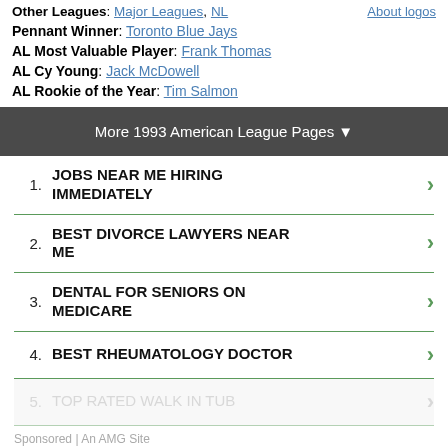Other Leagues: Major Leagues, NL
Pennant Winner: Toronto Blue Jays
AL Most Valuable Player: Frank Thomas
AL Cy Young: Jack McDowell
AL Rookie of the Year: Tim Salmon
More 1993 American League Pages ▼
1. JOBS NEAR ME HIRING IMMEDIATELY
2. BEST DIVORCE LAWYERS NEAR ME
3. DENTAL FOR SENIORS ON MEDICARE
4. BEST RHEUMATOLOGY DOCTOR
5. TOP RATED WALK IN TUB
Sponsored | An AMG Site